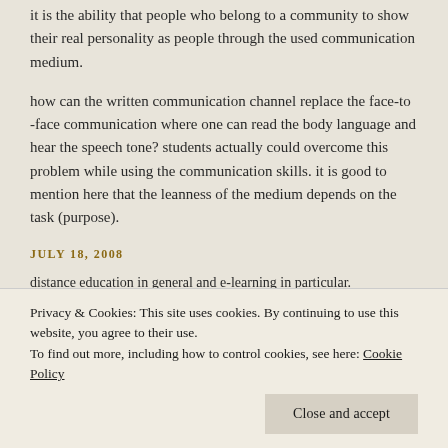it is the ability that people who belong to a community to show their real personality as people through the used communication medium.
how can the written communication channel replace the face-to -face communication where one can read the body language and hear the speech tone? students actually could overcome this problem while using the communication skills. it is good to mention here that the leanness of the medium depends on the task (purpose).
JULY 18, 2008
Privacy & Cookies: This site uses cookies. By continuing to use this website, you agree to their use.
To find out more, including how to control cookies, see here: Cookie Policy
distance education in general and e-learning in particular.